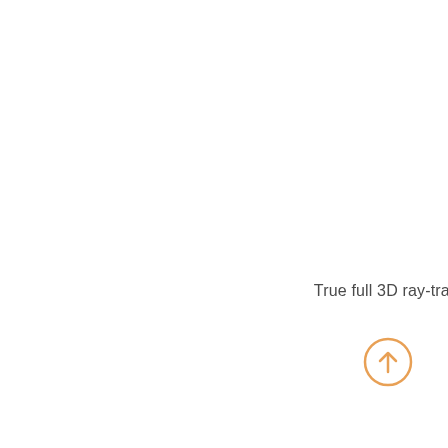True full 3D ray-trac
[Figure (other): Orange circular arrow/upload icon button]